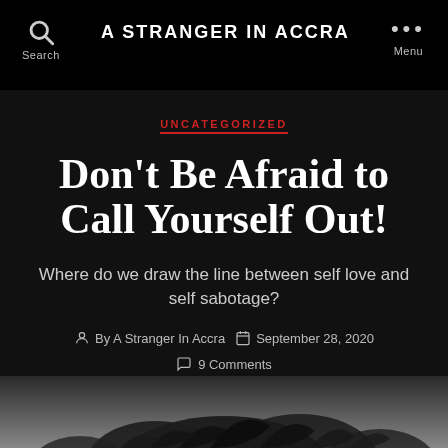A STRANGER IN ACCRA
UNCATEGORIZED
Don't Be Afraid to Call Yourself Out!
Where do we draw the line between self love and self sabotage?
By A Stranger In Accra   September 28, 2020
9 Comments
[Figure (photo): Dark background with foliage silhouette visible at bottom of page]